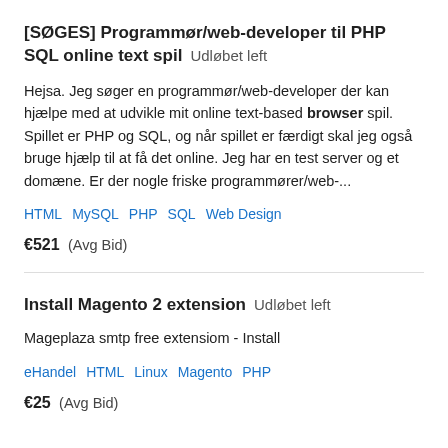[SØGES] Programmør/web-developer til PHP SQL online text spil  Udløbet left
Hejsa. Jeg søger en programmør/web-developer der kan hjælpe med at udvikle mit online text-based browser spil. Spillet er PHP og SQL, og når spillet er færdigt skal jeg også bruge hjælp til at få det online. Jeg har en test server og et domæne. Er der nogle friske programmører/web-...
HTML   MySQL   PHP   SQL   Web Design
€521  (Avg Bid)
Install Magento 2 extension  Udløbet left
Mageplaza smtp free extensiom - Install
eHandel   HTML   Linux   Magento   PHP
€25  (Avg Bid)